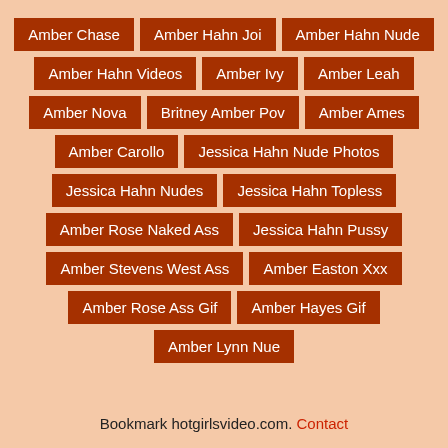Amber Chase
Amber Hahn Joi
Amber Hahn Nude
Amber Hahn Videos
Amber Ivy
Amber Leah
Amber Nova
Britney Amber Pov
Amber Ames
Amber Carollo
Jessica Hahn Nude Photos
Jessica Hahn Nudes
Jessica Hahn Topless
Amber Rose Naked Ass
Jessica Hahn Pussy
Amber Stevens West Ass
Amber Easton Xxx
Amber Rose Ass Gif
Amber Hayes Gif
Amber Lynn Nue
Bookmark hotgirlsvideo.com. Contact